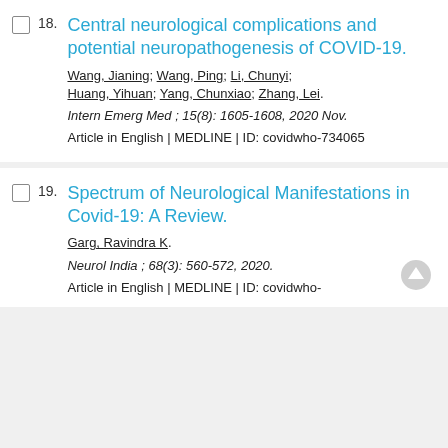18. Central neurological complications and potential neuropathogenesis of COVID-19. Wang, Jianing; Wang, Ping; Li, Chunyi; Huang, Yihuan; Yang, Chunxiao; Zhang, Lei. Intern Emerg Med ; 15(8): 1605-1608, 2020 Nov. Article in English | MEDLINE | ID: covidwho-734065
19. Spectrum of Neurological Manifestations in Covid-19: A Review. Garg, Ravindra K. Neurol India ; 68(3): 560-572, 2020. Article in English | MEDLINE | ID: covidwho-